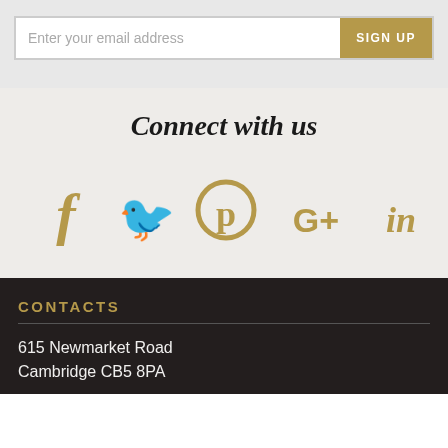Enter your email address
SIGN UP
Connect with us
[Figure (infographic): Five social media icons in gold: Facebook (f), Twitter (bird), Pinterest (P circle), Google+ (G+), LinkedIn (in)]
CONTACTS
615 Newmarket Road
Cambridge CB5 8PA